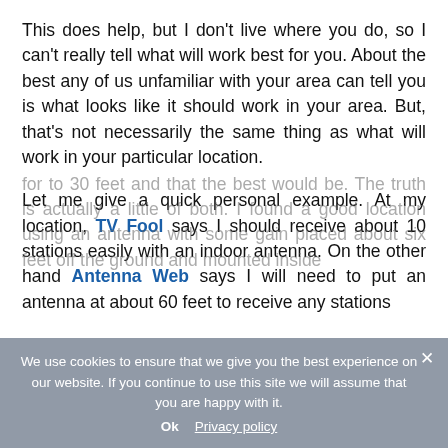This does help, but I don't live where you do, so I can't really tell what will work best for you. About the best any of us unfamiliar with your area can tell you is what looks like it should work in your area. But, that's not necessarily the same thing as what will work in your particular location.
Let me give a quick personal example. At my location, TV Fool says I should receive about 10 stations easily with an indoor antenna. On the other hand Antenna Web says I will need to put an antenna at about 60 feet to receive any stations [faded] for to 30 feet and that the best would be. The truth is actually a little of both. I found a good location using an antenna with some gain placed about six feet off the ground and mounted inside
We use cookies to ensure that we give you the best experience on our website. If you continue to use this site we will assume that you are happy with it. Ok  Privacy policy